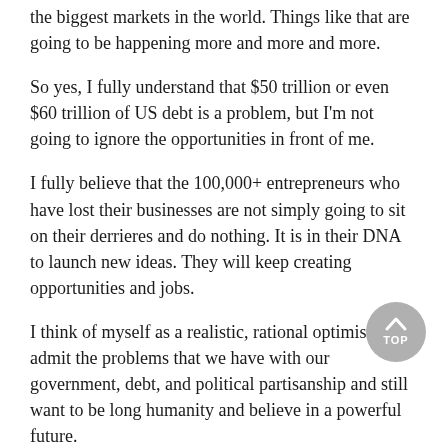the biggest markets in the world. Things like that are going to be happening more and more and more.
So yes, I fully understand that $50 trillion or even $60 trillion of US debt is a problem, but I'm not going to ignore the opportunities in front of me.
I fully believe that the 100,000+ entrepreneurs who have lost their businesses are not simply going to sit on their derrieres and do nothing. It is in their DNA to launch new ideas. They will keep creating opportunities and jobs.
I think of myself as a realistic, rational optimist. I can admit the problems that we have with our government, debt, and political partisanship and still want to be long humanity and believe in a powerful future.
You should, too.
The Great Reset: The Collapse of the Biggest Bubble in History
New York Times best seller and renowned financial expert John